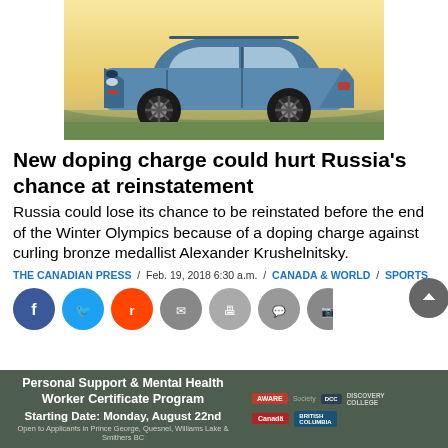[Figure (photo): Side view of a blue Subaru crossover SUV parked outdoors with a sunset/twilight sky background]
New doping charge could hurt Russia's chance at reinstatement
Russia could lose its chance to be reinstated before the end of the Winter Olympics because of a doping charge against curling bronze medallist Alexander Krushelnitsky.
THE CANADIAN PRESS / Feb. 19, 2018 6:30 a.m. / CANADA & WORLD / SPORTS
[Figure (infographic): Social media sharing icons row: Facebook, Twitter, Reddit, Email, Print, Comment, Photo]
[Figure (infographic): Advertisement banner: Personal Support & Mental Health Worker Certificate Program, Starting Date: Monday, August 22nd, Open to Applicants in Prince George, Quesnel, Williams Lake & Smithers BC]